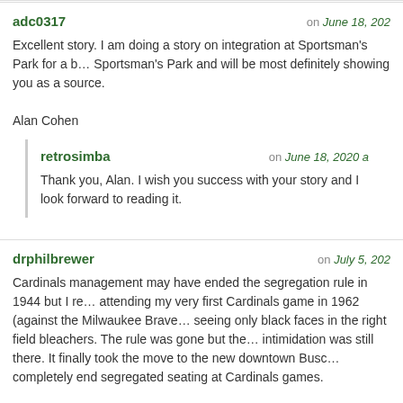adc0317 on June 18, 202…
Excellent story. I am doing a story on integration at Sportsman's Park for a b… Sportsman's Park and will be most definitely showing you as a source.

Alan Cohen
retrosimba on June 18, 2020 a…
Thank you, Alan. I wish you success with your story and I look forward to reading it.
drphilbrewer on July 5, 202…
Cardinals management may have ended the segregation rule in 1944 but I re… attending my very first Cardinals game in 1962 (against the Milwaukee Brave… seeing only black faces in the right field bleachers. The rule was gone but the… intimidation was still there. It finally took the move to the new downtown Busc… completely end segregated seating at Cardinals games.